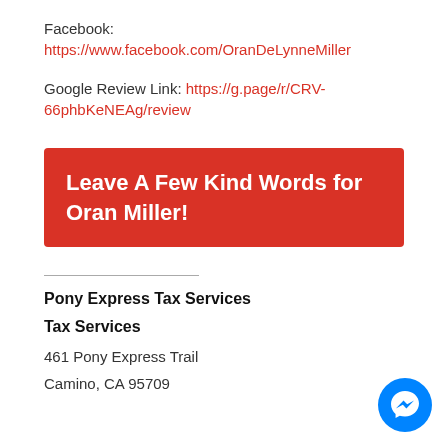Facebook:
https://www.facebook.com/OranDeLynneMiller
Google Review Link: https://g.page/r/CRV-66phbKeNEAg/review
Leave A Few Kind Words for Oran Miller!
Pony Express Tax Services
Tax Services
461 Pony Express Trail
Camino, CA 95709